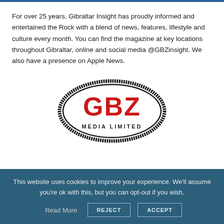For over 25 years, Gibraltar Insight has proudly informed and entertained the Rock with a blend of news, features, lifestyle and culture every month. You can find the magazine at key locations throughout Gibraltar, online and social media @GBZinsight. We also have a presence on Apple News.
[Figure (logo): GBZ Media Limited oval stamp logo with red bold letters GBZ and smaller text MEDIA LIMITED, black distressed oval border on white background]
This website uses cookies to improve your experience. We'll assume you're ok with this, but you can opt-out if you wish.